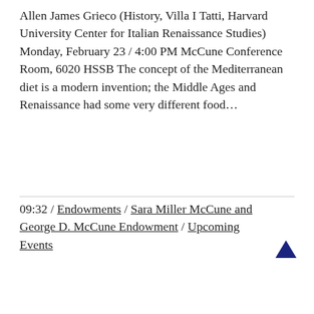Allen James Grieco (History, Villa I Tatti, Harvard University Center for Italian Renaissance Studies) Monday, February 23 / 4:00 PM McCune Conference Room, 6020 HSSB The concept of the Mediterranean diet is a modern invention; the Middle Ages and Renaissance had some very different food...
09:32 / Endowments / Sara Miller McCune and George D. McCune Endowment / Upcoming Events